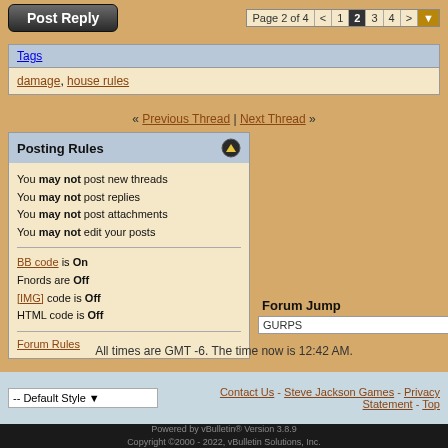Post Reply | Page 2 of 4 < 1 2 3 4 >
| Tags |
| --- |
| damage, house rules |
« Previous Thread | Next Thread »
Posting Rules
You may not post new threads
You may not post replies
You may not post attachments
You may not edit your posts
BB code is On
Fnords are Off
[IMG] code is Off
HTML code is Off
Forum Rules
Forum Jump
GURPS
All times are GMT -6. The time now is 12:42 AM.
-- Default Style | Contact Us - Steve Jackson Games - Privacy Statement - Top
Powered by vBulletin® Version 3.8.9 Copyright ©2000 - 2022, vBulletin Solutions, Inc.